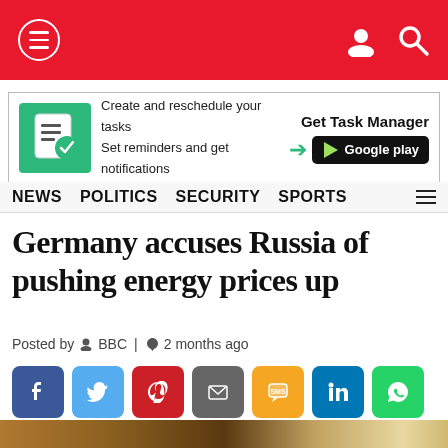Navigation bar with hamburger menu, user icon, search icon on red background
[Figure (screenshot): Advertisement banner: Task Manager app ad with green icon, text 'Create and reschedule your tasks / Set reminders and get notifications', 'Get Task Manager' with Google Play button]
NEWS  POLITICS  SECURITY  SPORTS
Germany accuses Russia of pushing energy prices up
Posted by  BBC |  2 months ago
[Figure (other): Social sharing buttons row: Facebook, Twitter, Pinterest, Email, SMS, LinkedIn, WhatsApp]
[Figure (photo): Partial photo strip at bottom of page]